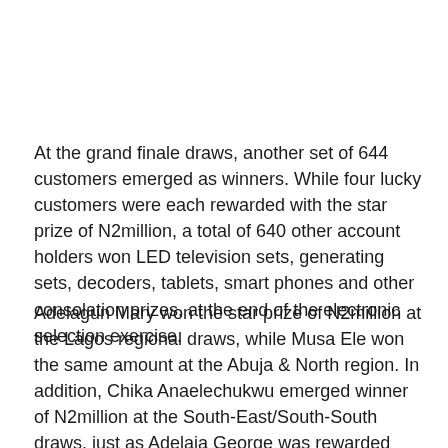At the grand finale draws, another set of 644 customers emerged as winners. While four lucky customers were each rewarded with the star prize of N2million, a total of 640 other account holders won LED television sets, generating sets, decoders, tablets, smart phones and other consolation prizes, at the end of the electronic selection exercise.
Adelagun Mary won the star prize of N2million at the Lagos regional draws, while Musa Ele won the same amount at the Abuja & North region. In addition, Chika Anaelechukwu emerged winner of N2million at the South-East/South-South draws, just as Adelaja George was rewarded with same